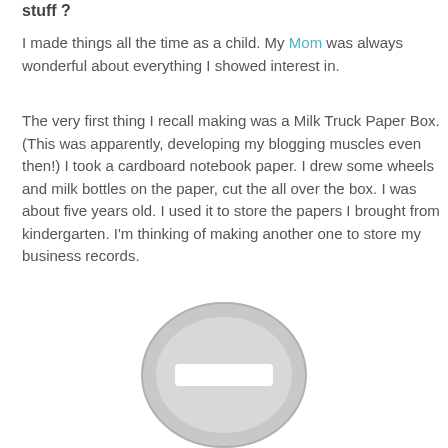stuff ?
I made things all the time as a child. My Mom was always wonderful about everything I showed interest in.
The very first thing I recall making was a Milk Truck Paper Box. (This was apparently, developing my blogging muscles even then!) I took a cardboard notebook paper. I drew some wheels and milk bottles on the paper, cut the all over the box. I was about five years old. I used it to store the papers I b kindergarten. I'm thinking of making another one to store my business rec
[Figure (illustration): A grey circular prohibition/no-entry style icon with a white horizontal rectangle bar in the center, rendered as a flat graphic symbol.]